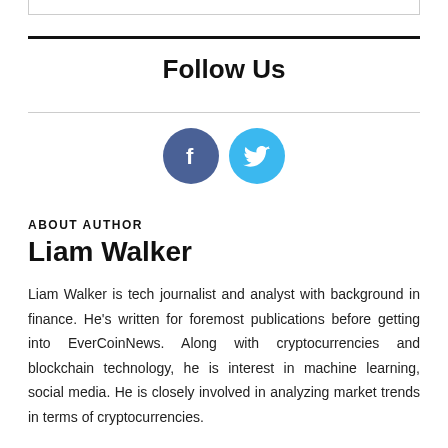Follow Us
[Figure (illustration): Two circular social media icons: a dark blue Facebook icon with 'f' logo and a light blue Twitter icon with bird logo]
ABOUT AUTHOR
Liam Walker
Liam Walker is tech journalist and analyst with background in finance. He's written for foremost publications before getting into EverCoinNews. Along with cryptocurrencies and blockchain technology, he is interest in machine learning, social media. He is closely involved in analyzing market trends in terms of cryptocurrencies.